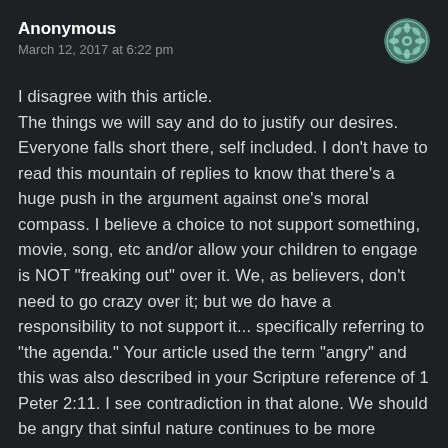Anonymous
March 12, 2017 at 6:22 pm
I disagree with this article. The things we will say and do to justify our desires. Everyone falls short there, self included. I don't have to read this mountain of replies to know that there's a huge push in the argument against one's moral compass. I believe a choice to not support something, movie, song, etc and/or allow your children to engage is NOT "freaking out" over it. We, as believers, don't need to go crazy over it; but we do have a responsibility to not support it... specifically referring to "the agenda." Your article used the term "angry" and this was also described in your Scripture reference of 1 Peter 2:11. I see contradiction in that alone. We should be angry that sinful nature continues to be more accepted as "the